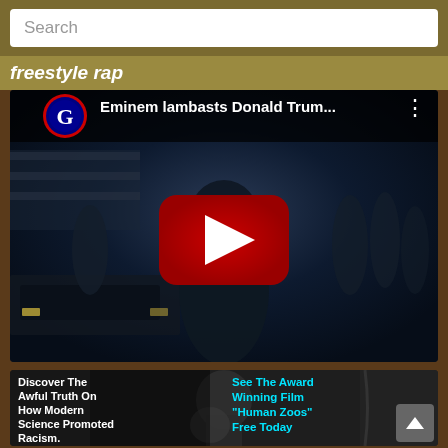Search
freestyle rap
[Figure (screenshot): YouTube video embed showing 'Eminem lambasts Donald Trum...' with The Guardian logo, a dark scene with a person in a hoodie and group of people in background, red YouTube play button in center]
[Figure (photo): Advertisement image showing black and white photo of a person with a chimpanzee. Left text: 'Discover The Awful Truth On How Modern Science Promoted Racism.' Right text in cyan: 'See The Award Winning Film "Human Zoos" Free Today']